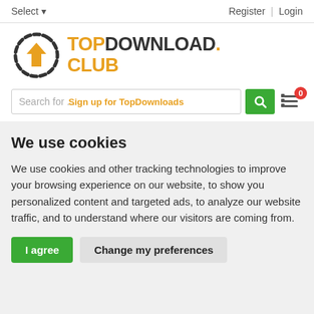Select    Register | Login
[Figure (logo): TopDownload.Club logo with orange download arrow icon and text TOPDOWNLOAD. CLUB in orange and dark grey]
[Figure (screenshot): Search bar with placeholder 'Search for ...' and orange overlay text 'Sign up for TopDownloads', green search button, and cart icon with red badge showing 0]
We use cookies
We use cookies and other tracking technologies to improve your browsing experience on our website, to show you personalized content and targeted ads, to analyze our website traffic, and to understand where our visitors are coming from.
I agree
Change my preferences